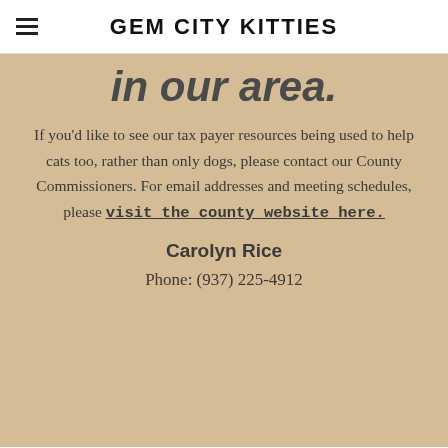GEM CITY KITTIES
in our area.
If you'd like to see our tax payer resources being used to help cats too, rather than only dogs, please contact our County Commissioners. For email addresses and meeting schedules, please visit the county website here.
Carolyn Rice
Phone: (937) 225-4912